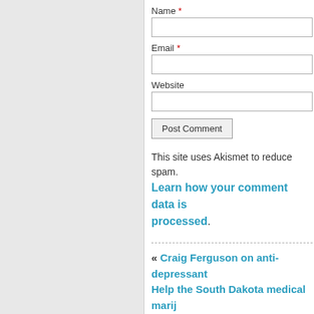Name *
Email *
Website
Post Comment
This site uses Akismet to reduce spam. Learn how your comment data is processed.
« Craig Ferguson on anti-depressant Help the South Dakota medical marij initiat